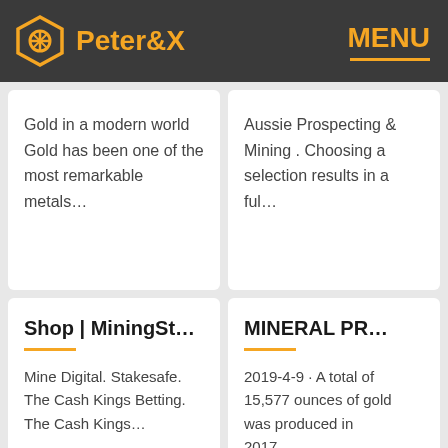Peter&X  MENU
Gold in a modern world Gold has been one of the most remarkable metals…
Aussie Prospecting & Mining . Choosing a selection results in a ful…
Shop | MiningSt…
Mine Digital. Stakesafe. The Cash Kings Betting. The Cash Kings…
MINERAL PR…
2019-4-9 · A total of 15,577 ounces of gold was produced in 2017,…